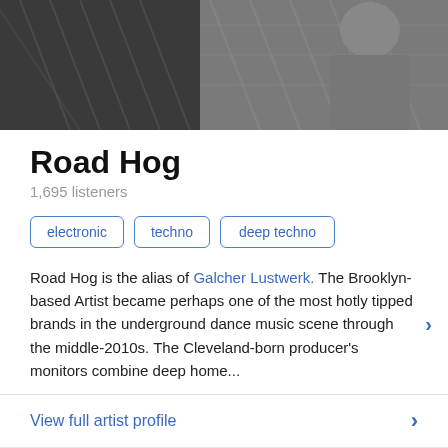[Figure (photo): Black and white photo banner showing a person near a chain-link fence and another person in a gray shirt]
Road Hog
1,695 listeners
electronic
techno
deep techno
Road Hog is the alias of Galcher Lustwerk. The Brooklyn-based Artist became perhaps one of the most hotly tipped brands in the underground dance music scene through the middle-2010s. The Cleveland-born producer's monitors combine deep home...
View full artist profile